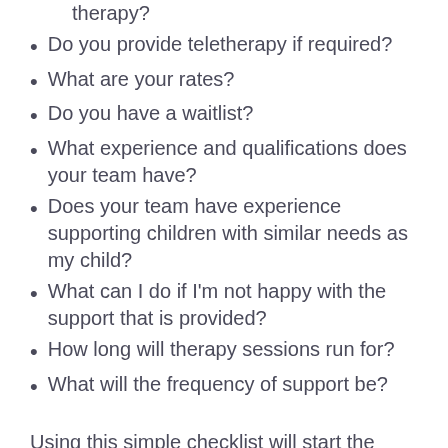In this setting do I can you provide therapy?
Do you provide teletherapy if required?
What are your rates?
Do you have a waitlist?
What experience and qualifications does your team have?
Does your team have experience supporting children with similar needs as my child?
What can I do if I'm not happy with the support that is provided?
How long will therapy sessions run for?
What will the frequency of support be?
Using this simple checklist will start the right conversations with any potential therapy providers so that you can get a better understanding of how they will support your child and your family. Remember that in addition to these general questions, you should always